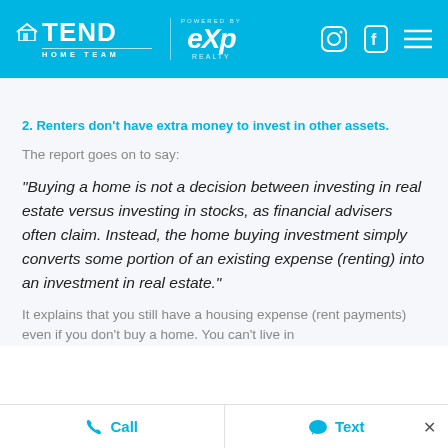[Figure (logo): Tend Home Team and eXp Realty logos in blue header with Instagram, Facebook, and menu icons on the right]
2. Renters don't have extra money to invest in other assets.
The report goes on to say:
“Buying a home is not a decision between investing in real estate versus investing in stocks, as financial advisers often claim. Instead, the home buying investment simply converts some portion of an existing expense (renting) into an investment in real estate.”
It explains that you still have a housing expense (rent payments) even if you don’t buy a home. You can’t live in
Call   Text